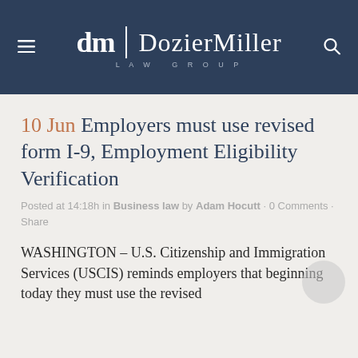DozierMiller LAW GROUP
10 Jun Employers must use revised form I-9, Employment Eligibility Verification
Posted at 14:18h in Business law by Adam Hocutt · 0 Comments · Share
WASHINGTON – U.S. Citizenship and Immigration Services (USCIS) reminds employers that beginning today they must use the revised